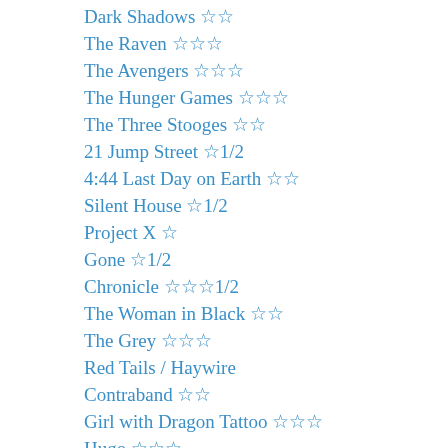Dark Shadows ☆☆
The Raven ☆☆☆
The Avengers ☆☆☆
The Hunger Games ☆☆☆
The Three Stooges ☆☆
21 Jump Street ☆1/2
4:44 Last Day on Earth ☆☆
Silent House ☆1/2
Project X ☆
Gone ☆1/2
Chronicle ☆☆☆1/2
The Woman in Black ☆☆
The Grey ☆☆☆
Red Tails / Haywire
Contraband ☆☆
Girl with Dragon Tattoo ☆☆☆
Hugo ☆☆☆
Sherlock Holmes II ☆1/2
The Descendants ☆☆☆1/2
Shame ☆☆☆1/2